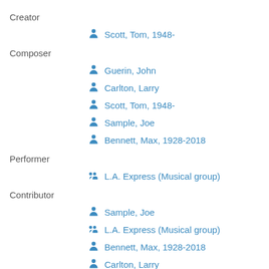Creator
Scott, Tom, 1948-
Composer
Guerin, John
Carlton, Larry
Scott, Tom, 1948-
Sample, Joe
Bennett, Max, 1928-2018
Performer
L.A. Express (Musical group)
Contributor
Sample, Joe
L.A. Express (Musical group)
Bennett, Max, 1928-2018
Carlton, Larry
Guerin, John
Work